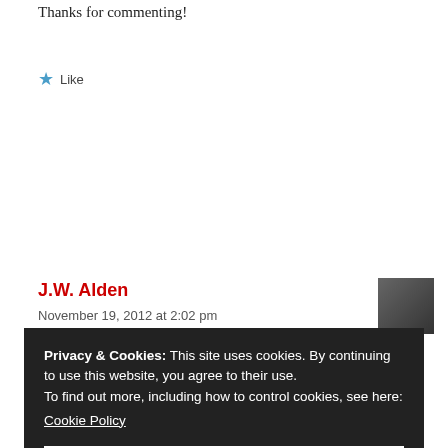Thanks for commenting!
★ Like
Reply
J.W. Alden
November 19, 2012 at 2:02 pm
[Figure (photo): Avatar photo of J.W. Alden]
Privacy & Cookies: This site uses cookies. By continuing to use this website, you agree to their use. To find out more, including how to control cookies, see here: Cookie Policy
Close and accept
when I started blogging, I told myself I would never let that